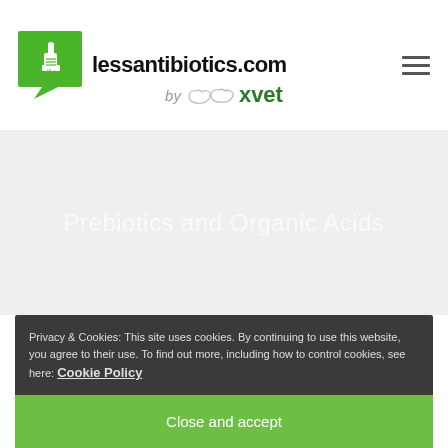[Figure (logo): lessantibiotics.com logo with green thumbs-up speech bubble and HACCP text, site name in bold black]
[Figure (logo): by xvet logo with animal silhouettes and green bold xvet text]
Prebiotics and Organic Acids
Privacy & Cookies: This site uses cookies. By continuing to use this website, you agree to their use. To find out more, including how to control cookies, see here: Cookie Policy
Close and accept